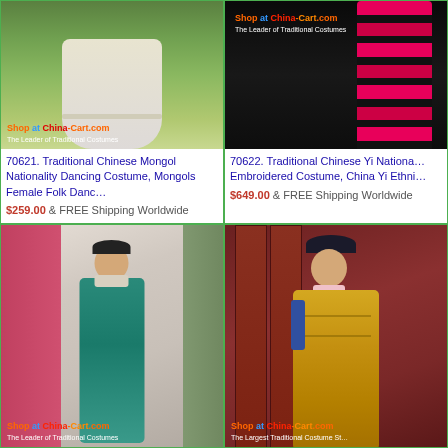[Figure (photo): Traditional Chinese Mongol white baggy pants displayed outdoors on a model with green background]
70621. Traditional Chinese Mongol Nationality Dancing Costume, Mongols Female Folk Danc…
$259.00 & FREE Shipping Worldwide
[Figure (photo): Traditional Chinese Yi Nationality embroidered costume with bright pink/red horizontal bands on dark background]
70622. Traditional Chinese Yi Nationa… Embroidered Costume, China Yi Ethni…
$649.00 & FREE Shipping Worldwide
[Figure (photo): Qing dynasty Chinese costume worn by a woman in teal/green robe with traditional hairstyle, outdoor corridor setting]
[Figure (photo): Qing dynasty Chinese imperial costume worn by a woman in elaborate gold embroidered robe with traditional headdress, indoor setting]